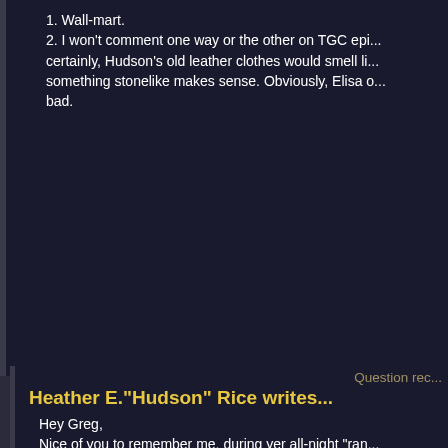1. Wall-mart.
2. I won't comment one way or the other on TGC epi... certainly, Hudson's old leather clothes would smell li... something stonelike makes sense. Obviously, Elisa o... bad.
Question rec...
Heather E."Hudson" Rice writes...
Hey Greg,
Nice of you to remember me, during yer all-night "ran... questions:
1) What year did Hudson hatch?
2) When exactly was Castle Wyvern built? Demona r... "That these cliffs were our homes, long before the Hu...
3)How many eggs can a female Gargoyle lay, at one...
4) When a female Gargoyle goes into "heat", does sh... off a scent, or something?
5) AND, FINALLY, just where did Thom get his tattoo...